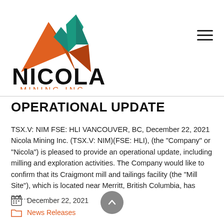[Figure (logo): Nicola Mining Inc logo with orange and teal mountain/diamond shapes above bold text NICOLA MINING INC]
OPERATIONAL UPDATE
TSX.V: NIM FSE: HLI VANCOUVER, BC, December 22, 2021 Nicola Mining Inc. (TSX.V: NIM)(FSE: HLI), (the “Company” or “Nicola”) is pleased to provide an operational update, including milling and exploration activities. The Company would like to confirm that its Craigmont mill and tailings facility (the “Mill Site”), which is located near Merritt, British Columbia, has not…
December 22, 2021
News Releases